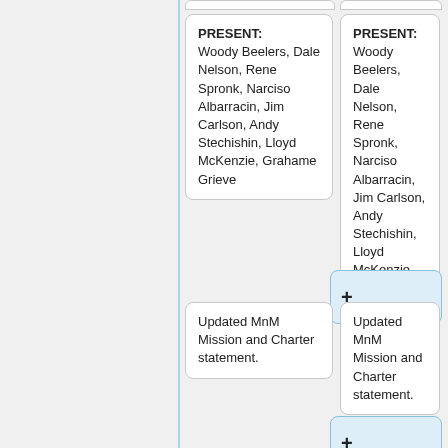PRESENT: Woody Beelers, Dale Nelson, Rene Spronk, Narciso Albarracin, Jim Carlson, Andy Stechishin, Lloyd McKenzie, Grahame Grieve
PRESENT: Woody Beelers, Dale Nelson, Rene Spronk, Narciso Albarracin, Jim Carlson, Andy Stechishin, Lloyd McKenzie, Grahame Grieve
Updated MnM Mission and Charter statement.
Updated MnM Mission and Charter statement.
MOTION: AS/DN 6-0-0  MnM will adopt changes
MOTION: AS/DN 6-0-0  MnM will adopt changes